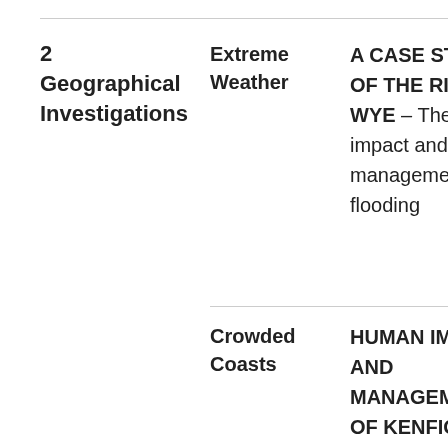2 Geographical Investigations
Extreme Weather
A CASE STUDY OF THE RIVER WYE – The impact and management flooding
Crowded Coasts
HUMAN IMPACT AND MANAGEMENT OF KENFIG NATIONAL NATURE RESERVE (sand dunes)